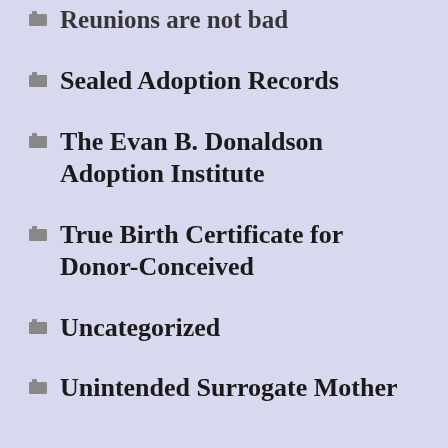Reunions are not bad
Sealed Adoption Records
The Evan B. Donaldson Adoption Institute
True Birth Certificate for Donor-Conceived
Uncategorized
Unintended Surrogate Mother